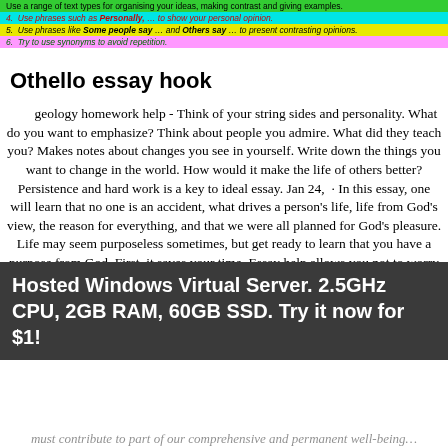Use a range of text types for organising your ideas, making contrast and giving examples.
Use phrases such as Personally, … to show your personal opinion.
Use phrases like Some people say … and Others say … to present contrasting opinions.
Try to use synonyms to avoid repetition.
Othello essay hook
geology homework help - Think of your string sides and personality. What do you want to emphasize? Think about people you admire. What did they teach you? Makes notes about changes you see in yourself. Write down the things you want to change in the world. How would it make the life of others better? Persistence and hard work is a key to ideal essay. Jan 24,  · In this essay, one will learn that no one is an accident, what drives a person's life, life from God's view, the reason for everything, and that we were all planned for God's pleasure. Life may seem purposeless sometimes, but get ready to learn that you have a purpose from God. First, it saves your time. Essay help allows you not to worry about the deadline and devote your time to whatever desired. Second, you are getting a perfect result. Without any breakdowns, sleepless nights, thousands of drafts! Sounds like a good idea! Third, best essay writing service isn't that expensive. writing dissertations and thesis
Hosted Windows Virtual Server. 2.5GHz CPU, 2GB RAM, 60GB SSD. Try it now for $1!
must contribute to part of our comprehensive and permanent well-being…